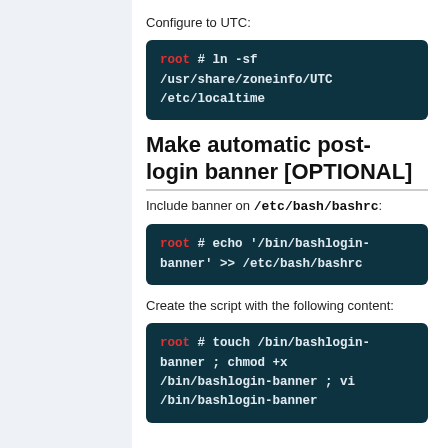Configure to UTC:
root # ln -sf /usr/share/zoneinfo/UTC /etc/localtime
Make automatic post-login banner [OPTIONAL]
Include banner on /etc/bash/bashrc:
root # echo '/bin/bashlogin-banner' >> /etc/bash/bashrc
Create the script with the following content:
root # touch /bin/bashlogin-banner ; chmod +x /bin/bashlogin-banner ; vi /bin/bashlogin-banner